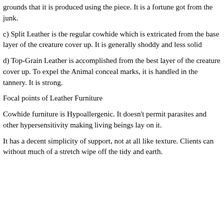grounds that it is produced using the piece. It is a fortune got from the junk.
c) Split Leather is the regular cowhide which is extricated from the base layer of the creature cover up. It is generally shoddy and less solid
d) Top-Grain Leather is accomplished from the best layer of the creature cover up. To expel the Animal conceal marks, it is handled in the tannery. It is strong.
Focal points of Leather Furniture
Cowhide furniture is Hypoallergenic. It doesn't permit parasites and other hypersensitivity making living beings lay on it.
It has a decent simplicity of support, not at all like texture. Clients can without much of a stretch wipe off the tidy and earth.